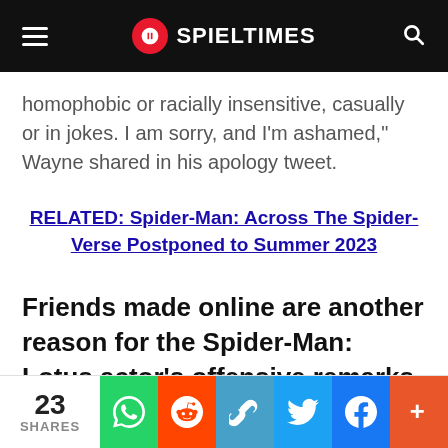SPIELTIMES
homophobic or racially insensitive, casually or in jokes. I am sorry, and I'm ashamed," Wayne shared in his apology tweet.
RELATED: Spider-Man: Across The Spider-Verse Postponed to Summer 2023
Friends made online are another reason for the Spider-Man: Lotus actor's offensive remarks
23 SHARES